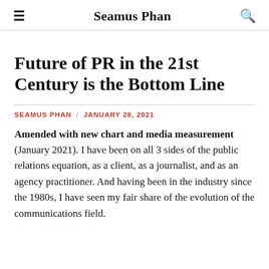Seamus Phan
Future of PR in the 21st Century is the Bottom Line
SEAMUS PHAN / JANUARY 28, 2021
Amended with new chart and media measurement (January 2021). I have been on all 3 sides of the public relations equation, as a client, as a journalist, and as an agency practitioner. And having been in the industry since the 1980s, I have seen my fair share of the evolution of the communications field.